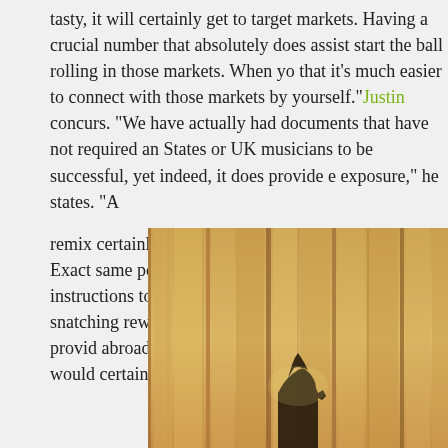tasty, it will certainly get to target markets. Having a crucial number that absolutely does assist start the ball rolling in those markets. When yo that it's much easier to connect with those markets by yourself."Justin concurs. "We have actually had documents that have not required an States or UK musicians to be successful, yet indeed, it does provide exposure," he states. "A
remix certainly would be larger than a routine remix. Exact same poin Sheeran remix." Choosing which instructions to take with a solitary is in between snatching rewarding residential markets as well as provid abroad. "Back home the initial documents would certainly be larger," h
[Figure (photo): A photo of vertical wooden planks or slats with warm golden-tan tones, with a dark shadow silhouette figure visible at the bottom center of the image.]